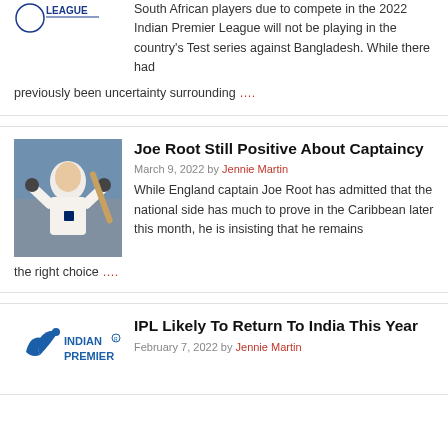South African players due to compete in the 2022 Indian Premier League will not be playing in the country's Test series against Bangladesh. While there had previously been uncertainty surrounding ….
Joe Root Still Positive About Captaincy
March 9, 2022 by Jennie Martin
While England captain Joe Root has admitted that the national side has much to prove in the Caribbean later this month, he is insisting that he remains the right choice ….
IPL Likely To Return To India This Year
February 7, 2022 by Jennie Martin